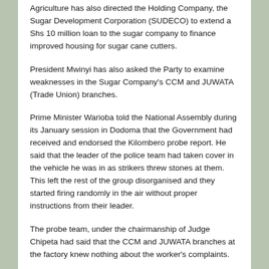Agriculture has also directed the Holding Company, the Sugar Development Corporation (SUDECO) to extend a Shs 10 million loan to the sugar company to finance improved housing for sugar cane cutters.
President Mwinyi has also asked the Party to examine weaknesses in the Sugar Company's CCM and JUWATA (Trade Union) branches.
Prime Minister Warioba told the National Assembly during its January session in Dodoma that the Government had received and endorsed the Kilombero probe report. He said that the leader of the police team had taken cover in the vehicle he was in as strikers threw stones at them. This left the rest of the group disorganised and they started firing randomly in the air without proper instructions from their leader.
The probe team, under the chairmanship of Judge Chipeta had said that the CCM and JUWATA branches at the factory knew nothing about the worker's complaints.